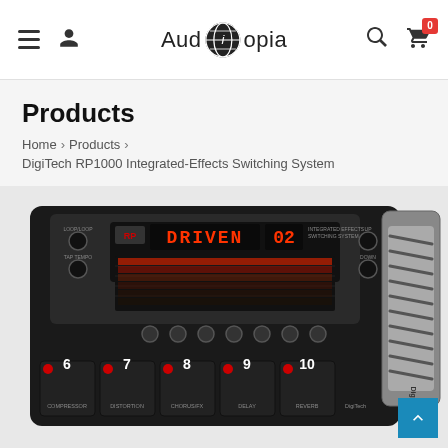Auditopia — navigation header with hamburger menu, user icon, logo, search icon, and cart icon (badge: 0)
Products
Home > Products > DigiTech RP1000 Integrated-Effects Switching System
[Figure (photo): Photo of a DigiTech RP1000 Integrated-Effects Switching System guitar multi-effects pedal, showing the top panel with display reading 'DRIVEN 02', multiple footswitches numbered 6 through 10 (Compressor, Distortion, Chorus/FX, Delay, Reverb), knobs, and an expression pedal on the right side.]